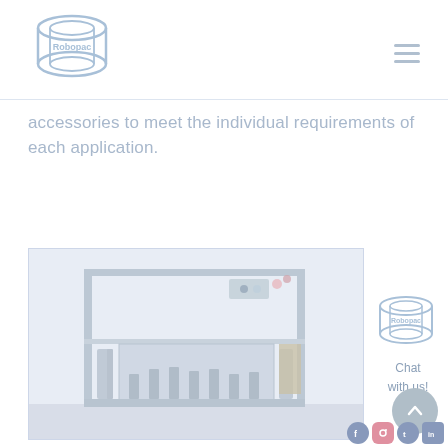[Figure (logo): Company logo with stacked cylinder/coil motif in light blue outline style]
accessories to meet the individual requirements of each application.
[Figure (photo): Industrial machinery / packaging or filling machine with metal frame structure, tubes, and mechanical components, shown in a factory setting]
[Figure (logo): Smaller version of company logo (chat widget) in light blue outline style]
Chat with us!